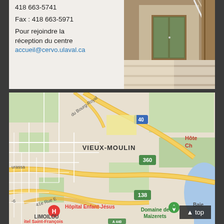418 663-5741
Fax : 418 663-5971

Pour rejoindre la réception du centre
accueil@cervo.ulaval.ca
[Figure (photo): Interior staircase with wooden paneling and glass railing]
[Figure (map): Google Maps showing Vieux-Moulin area in Quebec City, with landmarks including Hôpital Enfant-Jésus, LIMOILOU, Domaine de Maizerets, route 40, 360, 138, du Bourg-Royal street]